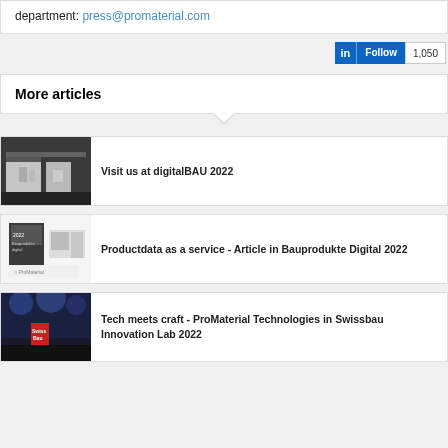department: press@promaterial.com
[Figure (other): LinkedIn Follow button with count 1,050]
More articles
[Figure (photo): Trade fair booth photo for digitalBAU 2022 article]
Visit us at digitalBAU 2022
[Figure (photo): Bauprodukte Digital 2022 magazine cover for article]
Productdata as a service - Article in Bauprodukte Digital 2022
[Figure (photo): Dark stage photo for Swissbau article]
Tech meets craft - ProMaterial Technologies in Swissbau Innovation Lab 2022